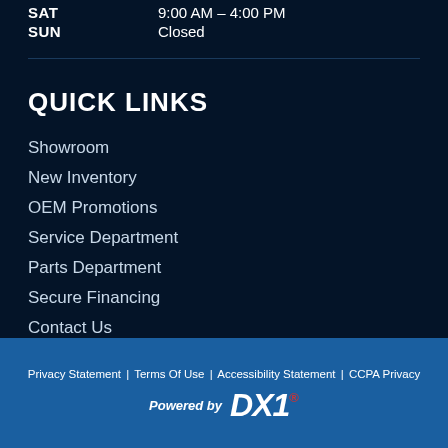| Day | Hours |
| --- | --- |
| SAT | 9:00 AM – 4:00 PM |
| SUN | Closed |
QUICK LINKS
Showroom
New Inventory
OEM Promotions
Service Department
Parts Department
Secure Financing
Contact Us
Privacy Statement | Terms Of Use | Accessibility Statement | CCPA Privacy
Powered by DX1